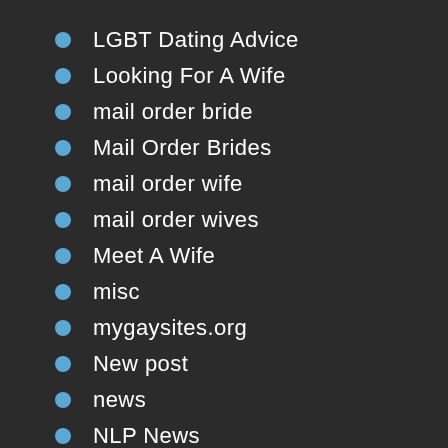LGBT Dating Advice
Looking For A Wife
mail order bride
Mail Order Brides
mail order wife
mail order wives
Meet A Wife
misc
mygaysites.org
New post
news
NLP News
Online Casino
Online Dating Advice